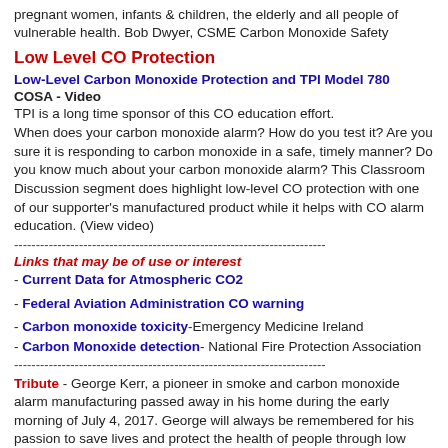pregnant women, infants & children, the elderly and all people of vulnerable health. Bob Dwyer, CSME Carbon Monoxide Safety
Low Level CO Protection
Low-Level Carbon Monoxide Protection and TPI Model 780
COSA - Video
TPI is a long time sponsor of this CO education effort. When does your carbon monoxide alarm? How do you test it? Are you sure it is responding to carbon monoxide in a safe, timely manner? Do you know much about your carbon monoxide alarm? This Classroom Discussion segment does highlight low-level CO protection with one of our supporter's manufactured product while it helps with CO alarm education. (View video)
------------------------------------------------------------------------
Links that may be of use or interest
- Current Data for Atmospheric CO2
- Federal Aviation Administration CO warning
- Carbon monoxide toxicity-Emergency Medicine Ireland
- Carbon Monoxide detection- National Fire Protection Association
------------------------------------------------------------------------
Tribute - George Kerr, a pioneer in smoke and carbon monoxide alarm manufacturing passed away in his home during the early morning of July 4, 2017. George will always be remembered for his passion to save lives and protect the health of people through low level carbon monoxide detection and alarming. He lived for over 84 years, beginning his career